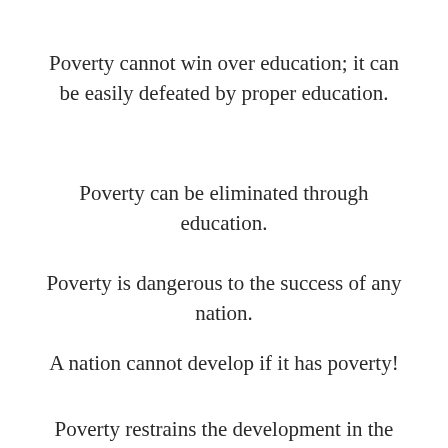Poverty cannot win over education; it can be easily defeated by proper education.
Poverty can be eliminated through education.
Poverty is dangerous to the success of any nation.
A nation cannot develop if it has poverty!
Poverty restrains the development in the country.